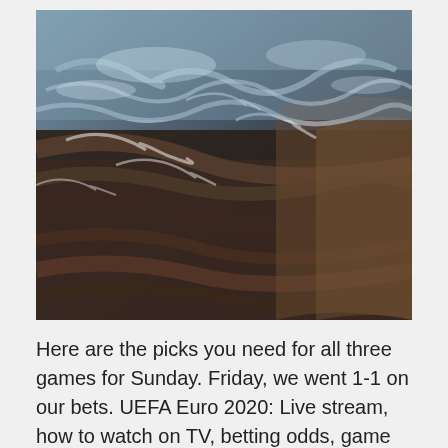[Figure (photo): Close-up photograph of water flowing over dark textured rocks, with light reflecting off the surface creating abstract patterns of light and dark.]
Here are the picks you need for all three games for Sunday. Friday, we went 1-1 on our bets. UEFA Euro 2020: Live stream, how to watch on TV, betting odds, game times...